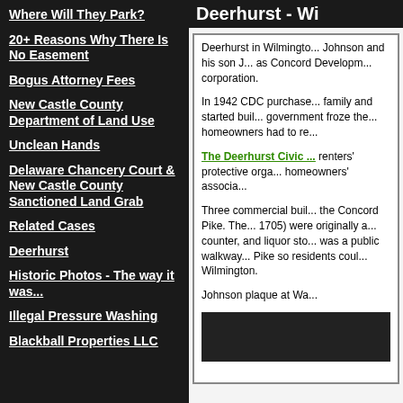Where Will They Park?
20+ Reasons Why There Is No Easement
Bogus Attorney Fees
New Castle County Department of Land Use
Unclean Hands
Delaware Chancery Court & New Castle County Sanctioned Land Grab
Related Cases
Deerhurst
Historic Photos - The way it was...
Illegal Pressure Washing
Blackball Properties LLC
Deerhurst - Wi...
Deerhurst in Wilmington, Johnson and his son J... as Concord Development corporation.
In 1942 CDC purchased... family and started building... government froze the... homeowners had to re...
The Deerhurst Civic ... renters' protective organization... homeowners' association...
Three commercial buildings... the Concord Pike. The... 1705) were originally... counter, and liquor store... was a public walkway... Pike so residents could... Wilmington.
Johnson plaque at Wa...
[Figure (photo): Historical black and white photograph related to Deerhurst]